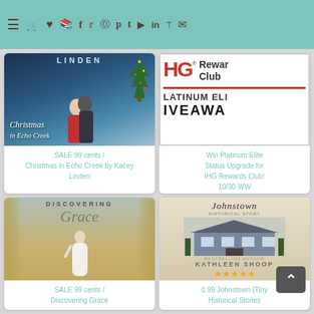Navigation bar with menu icon and social media icons
[Figure (photo): Book cover: Christmas in Echo Creek by Kacey Linden]
SALE 99 cents / Christmas in Echo Creek by Kacey Linden
[Figure (photo): IHG Rewards Club Platinum Elite Giveaway promotional image]
Win Platinum Elite Status Upgrade for IHG Rewards Club! 10/30 WW
[Figure (photo): Book cover: Discovering Grace]
SALE 99 cents / Discovering Grace
[Figure (photo): Book cover: Johnstown (Tiny Historical Stories) by Kathleen Shoop, 5-star rating]
0.99 Johnstown (Tiny Historical Stories